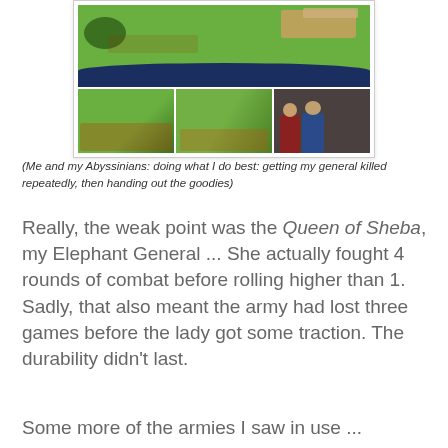[Figure (photo): Photo collage showing wargaming miniatures on a green battlefield mat (top image), two smaller images of miniature battle scenes, and one image of two men (one in red shirt, one in blue plaid) apparently at a gaming event.]
(Me and my Abyssinians: doing what I do best: getting my general killed repeatedly, then handing out the goodies)
Really, the weak point was the Queen of Sheba, my Elephant General ... She actually fought 4 rounds of combat before rolling higher than 1. Sadly, that also meant the army had lost three games before the lady got some traction. The durability didn't last.
Some more of the armies I saw in use ...